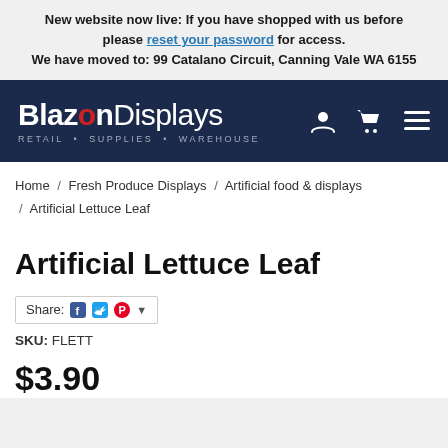New website now live: If you have shopped with us before please reset your password for access. We have moved to: 99 Catalano Circuit, Canning Vale WA 6155
[Figure (logo): Blazon Displays logo with tagline RETAIL • SUPPLIES • WAREHOUSE on dark navy navigation bar with user, cart, and menu icons]
Home / Fresh Produce Displays / Artificial food & displays / Artificial Lettuce Leaf
Artificial Lettuce Leaf
Share: [Facebook] [Twitter] [Pinterest] ▼
SKU: FLETT
$3.90